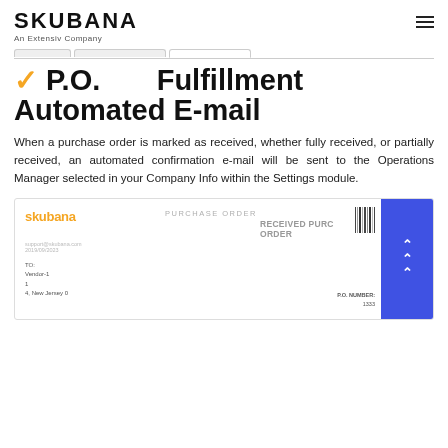SKUBANA — An Extensiv Company
P.O. Fulfillment Automated E-mail
When a purchase order is marked as received, whether fully received, or partially received, an automated confirmation e-mail will be sent to the Operations Manager selected in your Company Info within the Settings module.
[Figure (screenshot): Screenshot of a Skubana purchase order email showing 'RECEIVED PURCHASE ORDER' header, with skubana logo, support email, date, vendor address, and P.O. number 1333. A blue scroll-to-top button with double chevrons appears on the right side.]